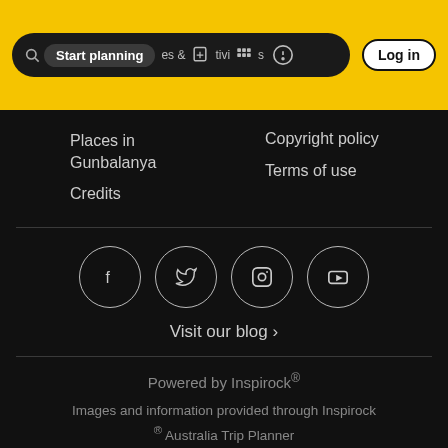[Figure (screenshot): Top navigation bar with yellow background showing 'Start planning' button, icons for places & activities, help icon, and Log in button]
Places in Gunbalanya
Credits
Copyright policy
Terms of use
[Figure (illustration): Four social media icons in circular outlines: Facebook, Twitter, Instagram, YouTube]
Visit our blog ›
Powered by Inspirock®
Images and information provided through Inspirock ® Australia Trip Planner
Powered by Google